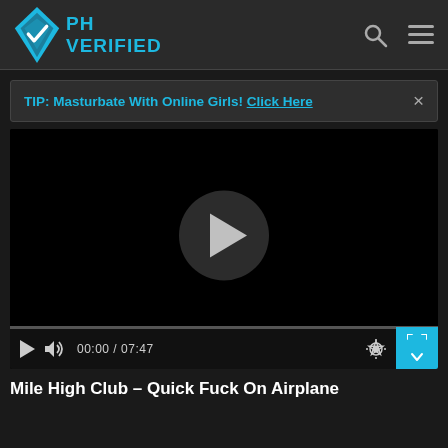[Figure (logo): PH Verified logo with diamond/checkmark icon and cyan text reading PH VERIFIED]
TIP: Masturbate With Online Girls! Click Here ×
[Figure (screenshot): Video player showing a black screen with a play button circle overlay, progress bar, and controls showing 00:00 / 07:47 with gear and fullscreen buttons]
Mile High Club – Quick Fuck On Airplane